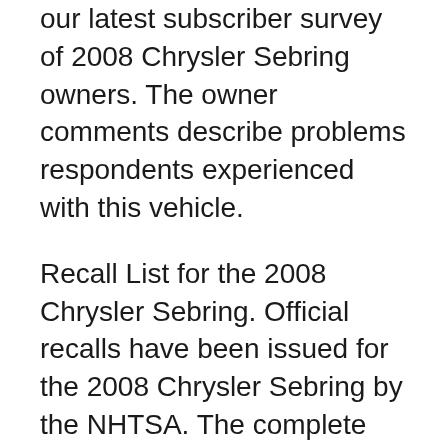our latest subscriber survey of 2008 Chrysler Sebring owners. The owner comments describe problems respondents experienced with this vehicle.
Recall List for the 2008 Chrysler Sebring. Official recalls have been issued for the 2008 Chrysler Sebring by the NHTSA. The complete details of all recalls are listed below, along with what they Find 2008 Chrysler Sebring recalls information, reported by the NHTSA, and we will help you find a nearby service center where you can get your car fixed.
Autopilot Recalls Facilities are possible